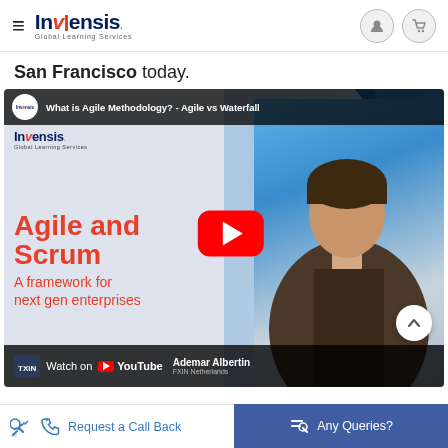Invensis Global Learning Services — navigation header with hamburger menu, logo, user and cart icons
San Francisco today.
[Figure (screenshot): YouTube video thumbnail for 'What is Agile Methodology? - Agile vs Waterfall' by Invensis Learning showing 'Agile and Scrum - A framework for next gen enterprises' with a red YouTube play button, a presenter in the frame, blue arc decoration, and a Watch on YouTube bar at the bottom with Ademar Albertin name.]
Request a Call Back
Any Queries?